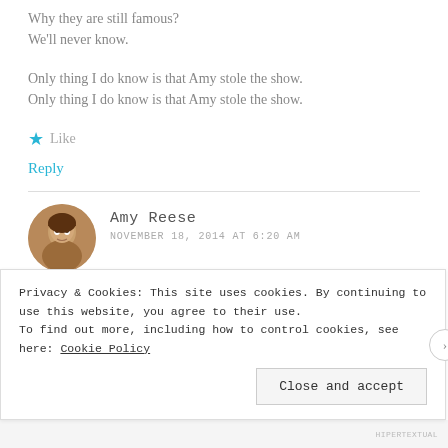Why they are still famous?
We'll never know.
Only thing I do know is that Amy stole the show.
Only thing I do know is that Amy stole the show.
★ Like
Reply
Amy Reese
NOVEMBER 18, 2014 AT 6:20 AM
Privacy & Cookies: This site uses cookies. By continuing to use this website, you agree to their use.
To find out more, including how to control cookies, see here: Cookie Policy
Close and accept
HIPERTEXTUAL